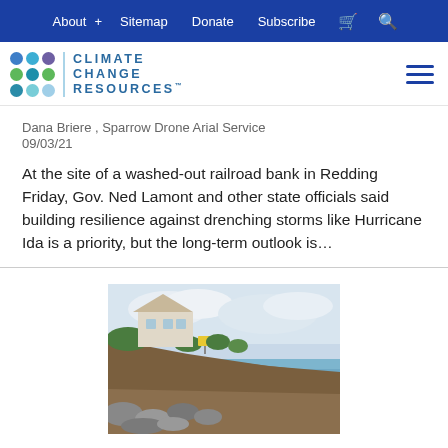About + | Sitemap | Donate | Subscribe | [cart] | [search]
[Figure (logo): Climate Change Resources logo with colored dot grid and text]
Dana Briere , Sparrow Drone Arial Service
09/03/21
At the site of a washed-out railroad bank in Redding Friday, Gov. Ned Lamont and other state officials said building resilience against drenching storms like Hurricane Ida is a priority, but the long-term outlook is…
[Figure (photo): Coastal erosion photo showing a house on an eroded cliff with rocks and water below]
UCONN TODAY